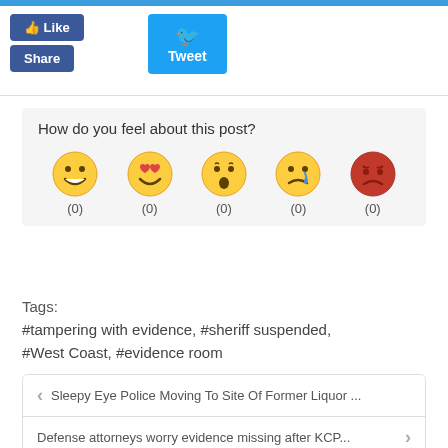[Figure (screenshot): Social media sharing buttons: Like, Share (Facebook blue), and Tweet (Twitter blue) buttons at the top of the page]
[Figure (infographic): Reaction emoji section titled 'How do you feel about this post?' with 5 emoji faces (happy, heart-eyes, surprised, sad/crying, angry) each showing count (0)]
Tags:
#tampering with evidence, #sheriff suspended, #West Coast, #evidence room
< Sleepy Eye Police Moving To Site Of Former Liquor ...
Defense attorneys worry evidence missing after KCP... >